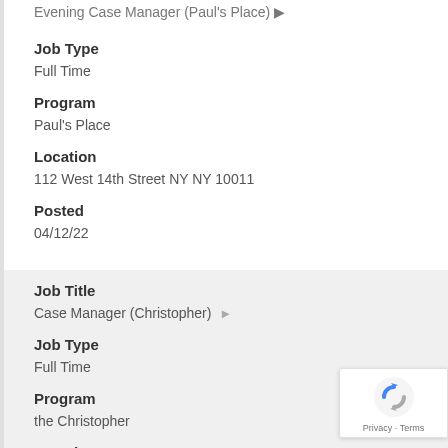Evening Case Manager (Paul's Place) ▶
Job Type
Full Time
Program
Paul's Place
Location
112 West 14th Street NY NY 10011
Posted
04/12/22
Job Title
Case Manager (Christopher) ▶
Job Type
Full Time
Program
the Christopher
Location